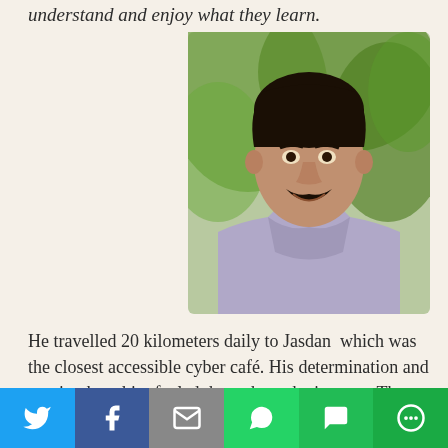understand and enjoy what they learn.
[Figure (photo): Portrait photo of a young man with dark hair and a moustache, wearing a light purple/lavender collared shirt, smiling, with green foliage in the background.]
He travelled 20 kilometers daily to Jasdan which was the closest accessible cyber café. His determination and passion kept him fueled throughout the journey. The idea of making study material in the form of a quiz was his goal. After endless study and research on educational
[Figure (infographic): Social media sharing bar at the bottom with icons for Twitter, Facebook, Email, WhatsApp, SMS, and More options.]